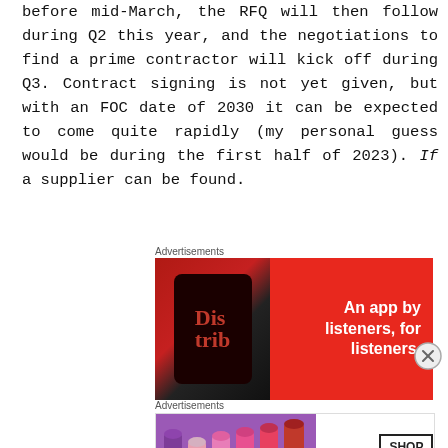before mid-March, the RFQ will then follow during Q2 this year, and the negotiations to find a prime contractor will kick off during Q3. Contract signing is not yet given, but with an FOC date of 2030 it can be expected to come quite rapidly (my personal guess would be during the first half of 2023). If a supplier can be found.
Advertisements
[Figure (other): Red advertisement banner for a podcast app: 'An app by listeners, for listeners.' with a phone showing 'Distrib' app]
Advertisements
[Figure (other): MAC cosmetics advertisement showing lipsticks and MAC logo with 'SHOP NOW' button]